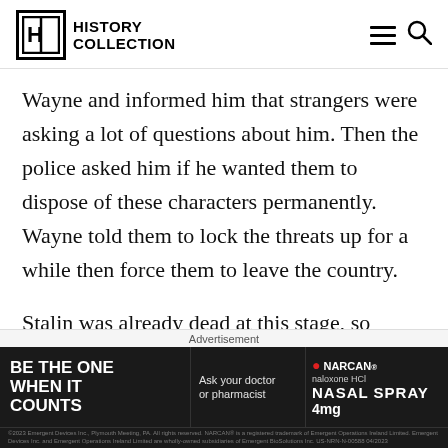History Collection
Wayne and informed him that strangers were asking a lot of questions about him. Then the police asked him if he wanted them to dispose of these characters permanently. Wayne told them to lock the threats up for a while then force them to leave the country.
Stalin was already dead at this stage, so Wayne
Advertisement
[Figure (other): Advertisement banner for Narcan Nasal Spray 4mg. Dark background with text 'BE THE ONE WHEN IT COUNTS', 'Ask your doctor or pharmacist', Narcan product logo, and fine print disclaimer.]